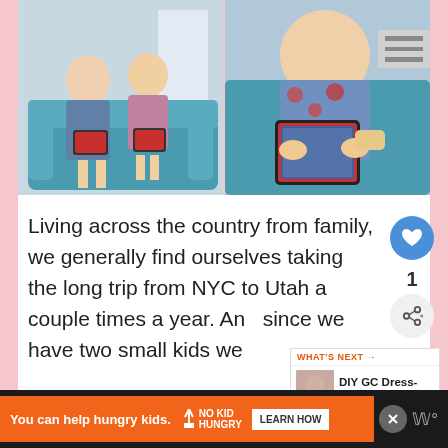[Figure (photo): Two-panel photo collage: left panel shows two young children in floral pajamas sitting on a teal sofa using tablets/iPads; right panel is a close-up of one child in floral outfit using a red-cased tablet.]
Living across the country from family, we generally find ourselves taking the long trip from NYC to Utah a couple times a year. And since we have two small kids we
[Figure (infographic): WHAT'S NEXT → DIY GC Dress-Up, Part 2! - a small next-article preview widget with a thumbnail image.]
You can help hungry kids. NO KID HUNGRY LEARN HOW